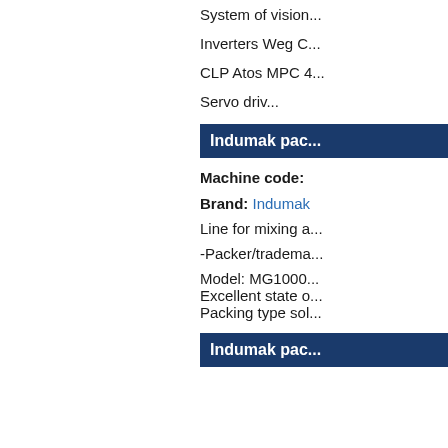System of vision...
Inverters Weg C...
CLP Atos MPC 4...
Servo driv...
Indumak pac...
Machine code:
Brand: Indumak
Line for mixing a...
-Packer/tradema...
Model: MG1000... Excellent state o... Packing type sol...
Indumak pac...